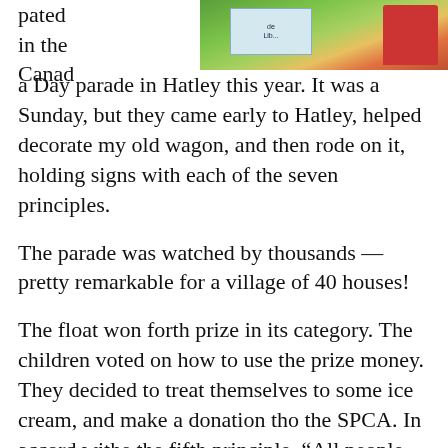[Figure (photo): Outdoor photo showing a person in a red shirt near green grass and signs, partially visible at the top of the page.]
pated in the Canada Day parade in Hatley this year. It was a Sunday, but they came early to Hatley, helped decorate my old wagon, and then rode on it, holding signs with each of the seven principles.

The parade was watched by thousands — pretty remarkable for a village of 40 houses!

The float won forth prize in its category. The children voted on how to use the prize money. They decided to treat themselves to some ice cream, and make a donation tho the SPCA. In accord withe the fifth principle, “All people need a voice.”